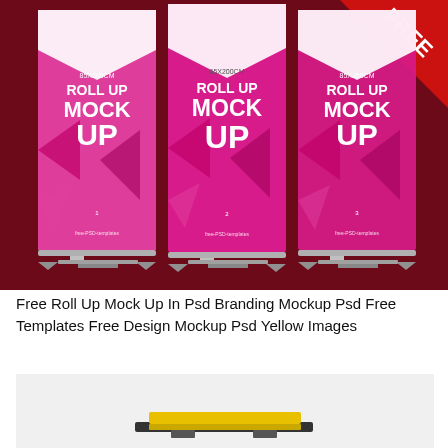[Figure (photo): Three roll-up banner mockups on a dark red/maroon background, each showing pink and white geometric designs with text '85X200cm ROLL UP MOCK UP' with 'free-PSD-templates' at bottom. Numbered 1, 2, 3 respectively. A red 'FREE' triangle badge appears in the top-right corner.]
Free Roll Up Mock Up In Psd Branding Mockup Psd Free Templates Free Design Mockup Psd Yellow Images
[Figure (photo): Bottom portion of a roll-up banner mockup on a light gray/white background, showing a yellow and dark-colored base/stand mechanism.]